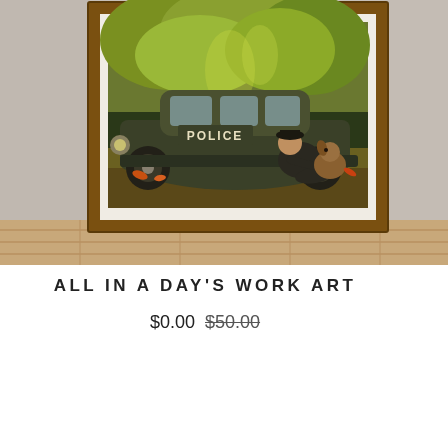[Figure (illustration): A framed artwork print mounted on a wall above a wooden floor. The painting shows a vintage police car parked under green leafy trees, with a police officer reclining against the car alongside a dog. The frame is dark brown/golden. The background shows a concrete wall texture.]
ALL IN A DAY'S WORK ART
$0.00  $50.00